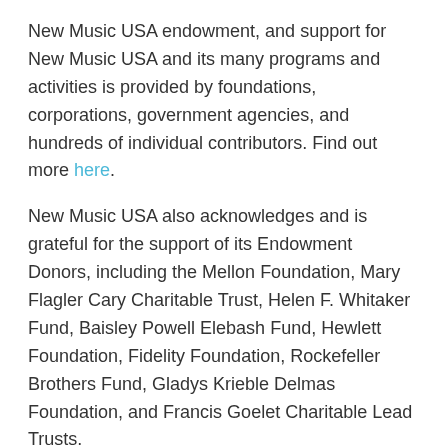New Music USA endowment, and support for New Music USA and its many programs and activities is provided by foundations, corporations, government agencies, and hundreds of individual contributors. Find out more here.
New Music USA also acknowledges and is grateful for the support of its Endowment Donors, including the Mellon Foundation, Mary Flagler Cary Charitable Trust, Helen F. Whitaker Fund, Baisley Powell Elebash Fund, Hewlett Foundation, Fidelity Foundation, Rockefeller Brothers Fund, Gladys Krieble Delmas Foundation, and Francis Goelet Charitable Lead Trusts.
Funding Transparency
Both the New Music Creator Development Fund and the New Music Organizational Development Fund are made possible by the generous funders who either donated to our endowment or generously donate to New Music USA annually. Some of the regularly donating supporters: